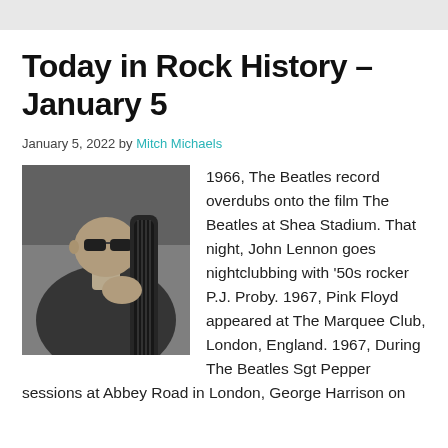Today in Rock History – January 5
January 5, 2022 by Mitch Michaels
[Figure (photo): Black and white photograph of a man playing a double bass, wearing sunglasses, shot from a low angle.]
1966, The Beatles record overdubs onto the film The Beatles at Shea Stadium. That night, John Lennon goes nightclubbing with '50s rocker P.J. Proby. 1967, Pink Floyd appeared at The Marquee Club, London, England. 1967, During The Beatles Sgt Pepper sessions at Abbey Road in London, George Harrison on